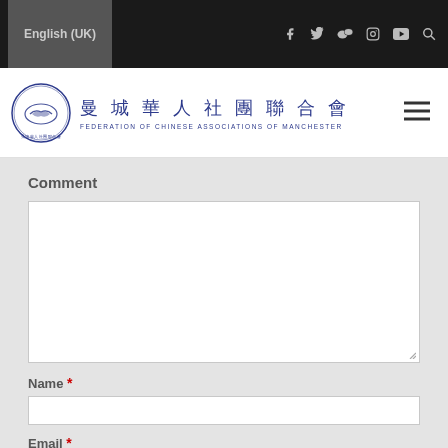English (UK)
[Figure (logo): Federation of Chinese Associations of Manchester logo with Chinese characters 曼城華人社團聯合會 and circular seal with handshake]
Comment
Name *
Email *